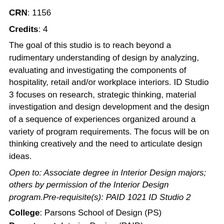CRN: 1156
Credits: 4
The goal of this studio is to reach beyond a rudimentary understanding of design by analyzing, evaluating and investigating the components of hospitality, retail and/or workplace interiors. ID Studio 3 focuses on research, strategic thinking, material investigation and design development and the design of a sequence of experiences organized around a variety of program requirements. The focus will be on thinking creatively and the need to articulate design ideas.
Open to: Associate degree in Interior Design majors; others by permission of the Interior Design program.Pre-requisite(s): PAID 1021 ID Studio 2
College: Parsons School of Design (PS)
Department: Interior Design (PAID)
Campus: New York City (GV)